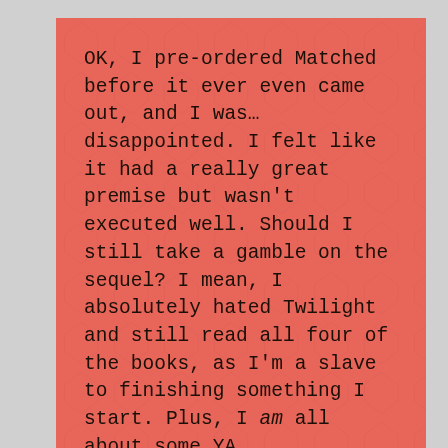OK, I pre-ordered Matched before it ever even came out, and I was… disappointed. I felt like it had a really great premise but wasn't executed well. Should I still take a gamble on the sequel? I mean, I absolutely hated Twilight and still read all four of the books, as I'm a slave to finishing something I start. Plus, I am all about some YA.
I've also had Her Fearful Symmetry on my reading list since it came out but never got around to it. I'll have to bump it back up to the top, as I looooved The Time Traveler's Wife.
Thanks for all the other recs–I haven't read any of those!